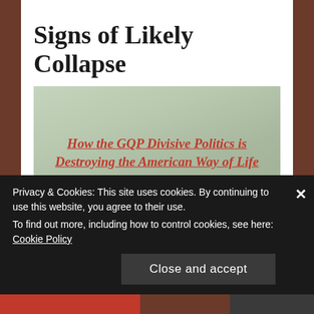Signs of Likely Collapse
[Figure (photo): Faded outdoor photo with wooden bridge/structure and greenery in the background]
How the GQP Divisive Politics is Destroying the American Way of Life
Barbara Walter, a University of California San Diego expert on civil war
Privacy & Cookies: This site uses cookies. By continuing to use this website, you agree to their use. To find out more, including how to control cookies, see here: Cookie Policy
Close and accept